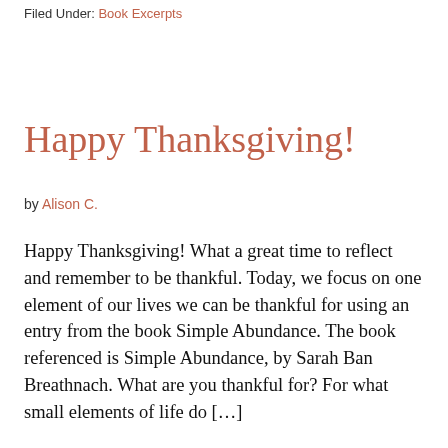Filed Under: Book Excerpts
Happy Thanksgiving!
by Alison C.
Happy Thanksgiving!  What a great time to reflect and remember to be thankful.  Today, we focus on one element of our lives we can be thankful for using an entry from the book Simple Abundance.  The book referenced is Simple Abundance, by Sarah Ban Breathnach. What are you thankful for? For what small elements of life do […]